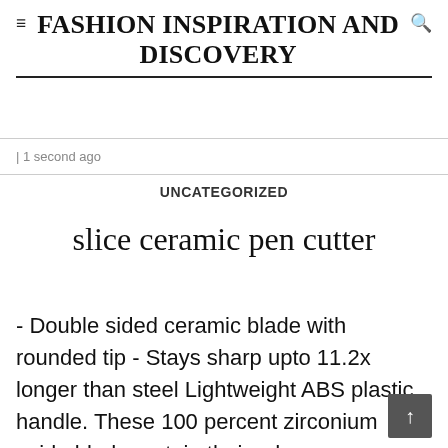≡FASHION INSPIRATION AND DISCOVERY
| 1 second ago
UNCATEGORIZED
slice ceramic pen cutter
- Double sided ceramic blade with rounded tip - Stays sharp upto 11.2x longer than steel Lightweight ABS plastic handle. These 100 percent zirconium oxide blades retain their edge